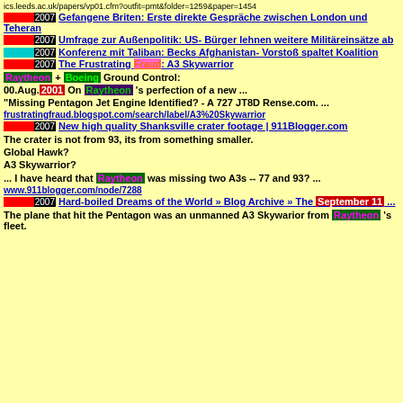ics.leeds.ac.uk/papers/vp01.cfm?outfit=pmt&folder=1259&paper=1454
04.Apr.2007 Gefangene Briten: Erste direkte Gespräche zwischen London und Teheran
04.Apr.2007 Umfrage zur Außenpolitik: US- Bürger lehnen weitere Militäreinsätze ab
04.Apr.2007 Konferenz mit Taliban: Becks Afghanistan- Vorstoß spaltet Koalition
04.Apr.2007 The Frustrating Fraud: A3 Skywarrior
Raytheon + Boeing Ground Control:
00.Aug.2001 On Raytheon 's perfection of a new ...
"Missing Pentagon Jet Engine Identified? - A 727 JT8D Rense.com. ...
frustratingfraud.blogspot.com/search/label/A3%20Skywarrior
04.Apr.2007 New high quality Shanksville crater footage | 911Blogger.com
The crater is not from 93, its from something smaller.
Global Hawk?
A3 Skywarrior?
... I have heard that Raytheon was missing two A3s -- 77 and 93? ...
www.911blogger.com/node/7288
04.Apr.2007 Hard-boiled Dreams of the World » Blog Archive » The September 11 ...
The plane that hit the Pentagon was an unmanned A3 Skywarior from Raytheon 's fleet.